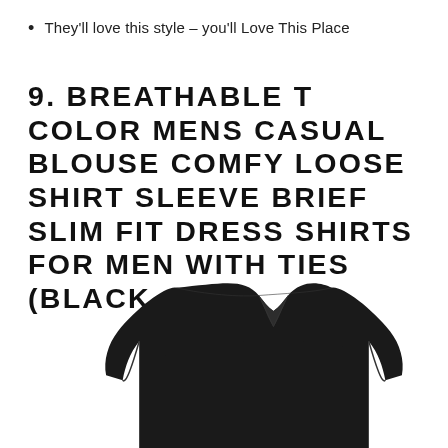They'll love this style – you'll Love This Place
9. BREATHABLE T COLOR MENS CASUAL BLOUSE COMFY LOOSE SHIRT SLEEVE BRIEF SLIM FIT DRESS SHIRTS FOR MEN WITH TIES (BLACK, M)
[Figure (photo): Photo of a black linen loose-fit men's shirt with V-neck, shown from the front on a white background.]